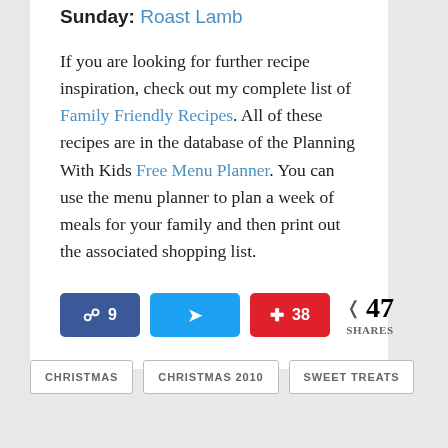Sunday: Roast Lamb
If you are looking for further recipe inspiration, check out my complete list of Family Friendly Recipes. All of these recipes are in the database of the Planning With Kids Free Menu Planner. You can use the menu planner to plan a week of meals for your family and then print out the associated shopping list.
[Figure (infographic): Social share buttons: Facebook with 9 shares, Twitter, Pinterest with 38 shares, and total 47 SHARES]
CHRISTMAS
CHRISTMAS 2010
SWEET TREATS